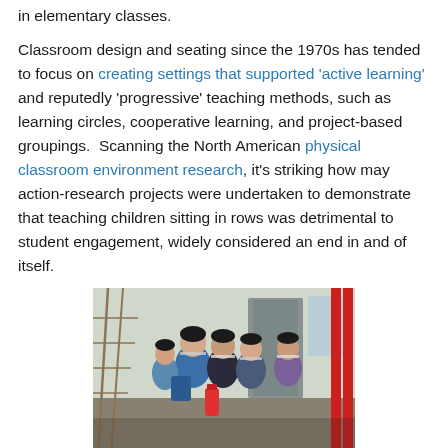in elementary classes.

Classroom design and seating since the 1970s has tended to focus on creating settings that supported 'active learning' and reputedly 'progressive' teaching methods, such as learning circles, cooperative learning, and project-based groupings.  Scanning the North American physical classroom environment research, it's striking how may action-research projects were undertaken to demonstrate that teaching children sitting in rows was detrimental to student engagement, widely considered an end in and of itself.
[Figure (photo): Group of elementary school children wearing face masks standing outside a school doorway. Children are wearing winter jackets; some red poles and netting visible in foreground.]